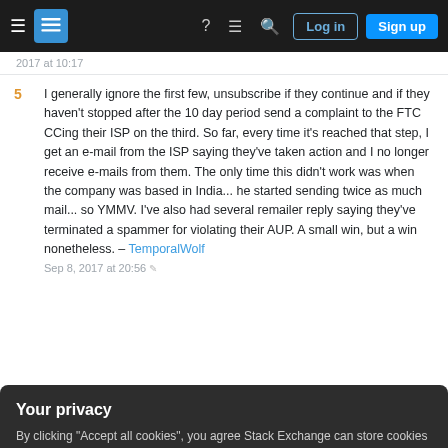Stack Exchange navigation bar with Log in and Sign up buttons
2017 at 10:17
5  I generally ignore the first few, unsubscribe if they continue and if they haven't stopped after the 10 day period send a complaint to the FTC CCing their ISP on the third. So far, every time it's reached that step, I get an e-mail from the ISP saying they've taken action and I no longer receive e-mails from them. The only time this didn't work was when the company was based in India... he started sending twice as much mail... so YMMV. I've also had several remailer reply saying they've terminated a spammer for violating their AUP. A small win, but a win nonetheless. – TemporalWolf Sep 8, 2017 at 20:56
Your privacy
By clicking "Accept all cookies", you agree Stack Exchange can store cookies on your device and disclose information in accordance with our Cookie Policy.
Accept all cookies  Customize settings
The following assumes that this is a legitimate,